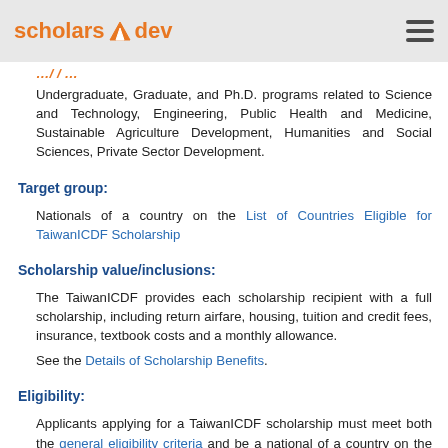scholars dev
Undergraduate, Graduate, and Ph.D. programs related to Science and Technology, Engineering, Public Health and Medicine, Sustainable Agriculture Development, Humanities and Social Sciences, Private Sector Development.
Target group:
Nationals of a country on the List of Countries Eligible for TaiwanICDF Scholarship
Scholarship value/inclusions:
The TaiwanICDF provides each scholarship recipient with a full scholarship, including return airfare, housing, tuition and credit fees, insurance, textbook costs and a monthly allowance.
See the Details of Scholarship Benefits.
Eligibility:
Applicants applying for a TaiwanICDF scholarship must meet both the general eligibility criteria and be a national of a country on the list of Countries Eligible for TaiwanICDF Scholarship (see above). Applicants must also meet the